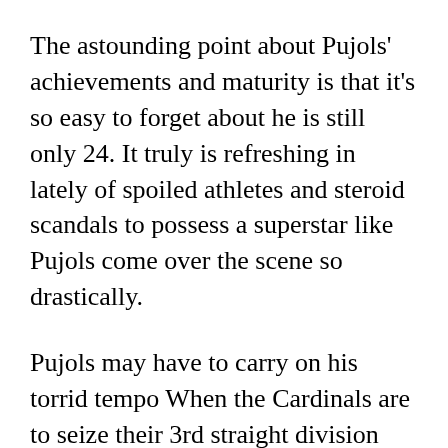The astounding point about Pujols' achievements and maturity is that it's so easy to forget about he is still only 24. It truly is refreshing in lately of spoiled athletes and steroid scandals to possess a superstar like Pujols come over the scene so drastically.
Pujols may have to carry on his torrid tempo When the Cardinals are to seize their 3rd straight division title. This Cardinal Variation may very well be a bit weaker with no Reggie Sanders and Larry Walker within the outfield and a question mark